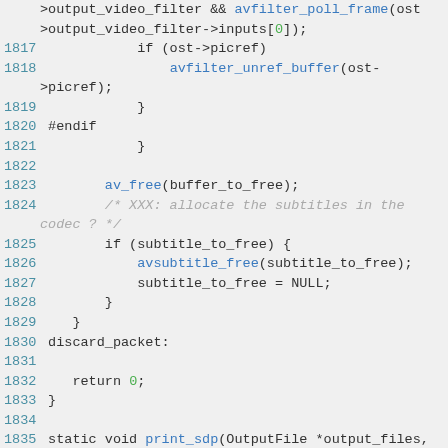[Figure (screenshot): Source code snippet showing C code lines 1816-1836 with syntax highlighting. Line numbers in blue, function names in blue, keywords in dark, comments in gray italic, numeric literals in green.]